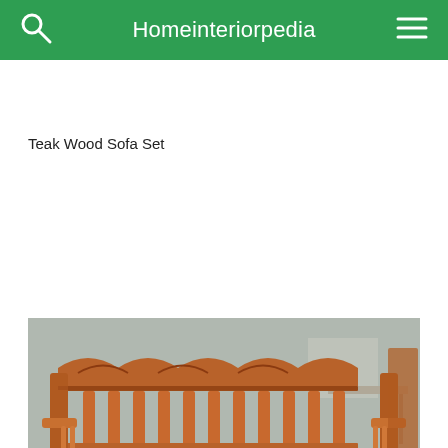Homeinteriorpedia
Teak Wood Sofa Set
[Figure (photo): A teak wood sofa set — a three-seater wooden sofa with carved decorative backrest, vertical slats, armrests with turned spindles, and a slatted seat, photographed in a workshop setting.]